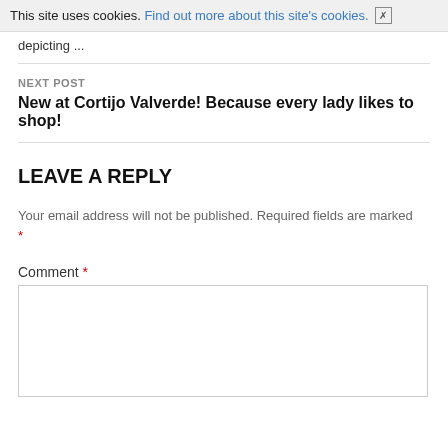This site uses cookies. Find out more about this site's cookies. [x]
depicting ...
NEXT POST
New at Cortijo Valverde! Because every lady likes to shop!
LEAVE A REPLY
Your email address will not be published. Required fields are marked *
Comment *